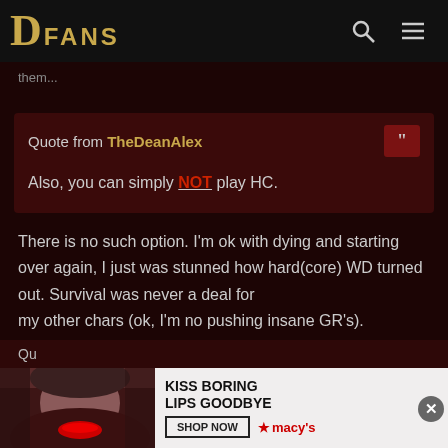DFANS
them...
Quote from TheDeanAlex
Also, you can simply NOT play HC.
There is no such option. I'm ok with dying and starting over again, I just was stunned how hard(core) WD turned out. Survival was never a deal for my other chars (ok, I'm no pushing insane GR's).
[Figure (photo): Advertisement banner: Kiss Boring Lips Goodbye - Macy's ad with woman's face]
Qu...